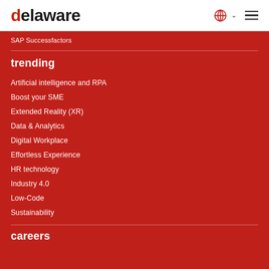delaware
SAP Successfactors
trending
Artificial intelligence and RPA
Boost your SME
Extended Reality (XR)
Data & Analytics
Digital Workplace
Effortless Experience
HR technology
Industry 4.0
Low-Code
Sustainability
careers